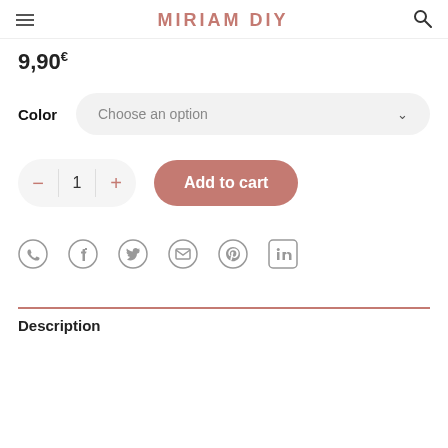MIRIAM DIY
9,90€
Color   Choose an option
- 1 +   Add to cart
[Figure (infographic): Social sharing icons: WhatsApp, Facebook, Twitter, Email, Pinterest, LinkedIn]
Description